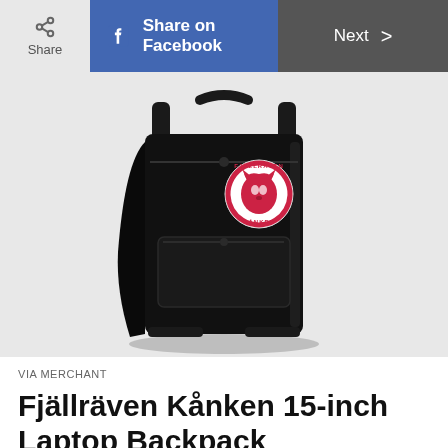Share | Share on Facebook | Next
[Figure (photo): Fjällräven Kånken 15-inch Laptop Backpack in black, showing front view with the iconic circular red and white fox logo patch, front pocket, grab handle, and shoulder straps. Displayed on a light gray background.]
VIA MERCHANT
Fjällräven Kånken 15-inch Laptop Backpack